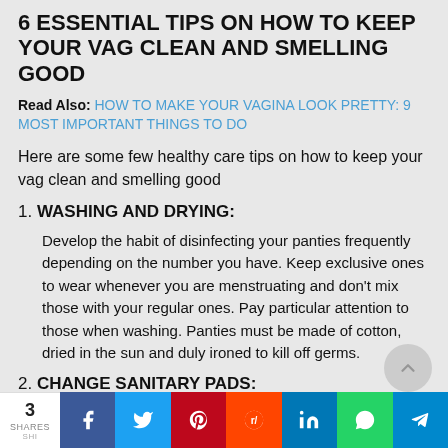6 ESSENTIAL TIPS ON HOW TO KEEP YOUR VAG CLEAN AND SMELLING GOOD
Read Also: HOW TO MAKE YOUR VAGINA LOOK PRETTY: 9 MOST IMPORTANT THINGS TO DO
Here are some few healthy care tips on how to keep your vag clean and smelling good
1. WASHING AND DRYING: Develop the habit of disinfecting your panties frequently depending on the number you have. Keep exclusive ones to wear whenever you are menstruating and don't mix those with your regular ones. Pay particular attention to those when washing. Panties must be made of cotton, dried in the sun and duly ironed to kill off germs.
2. CHANGE SANITARY PADS: